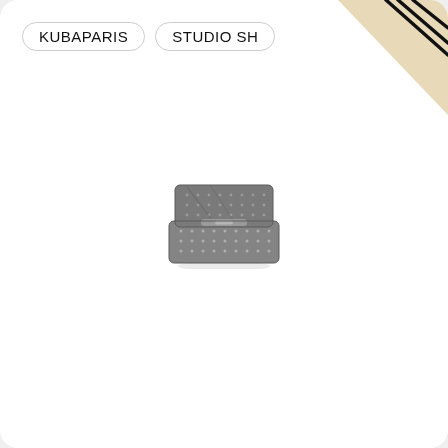[Figure (illustration): Decorative top-right corner with beige/tan background triangle and three diagonal black parallel lines, giving a design/branding page accent.]
KUBAPARIS   STUDIO SH
[Figure (photo): Small metallic silver/grey clutch or wallet-style handbag with a textured dotted pattern and structured rectangular shape, photographed on white background. The bag appears miniature or as a product sample/miniature model.]